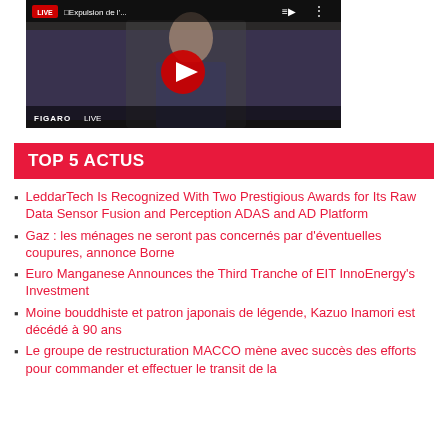[Figure (screenshot): YouTube video thumbnail showing a live broadcast from Le Figaro LIVE with title 'Expulsion de l'...' and a play button overlay on a person in a suit]
TOP 5 ACTUS
LeddarTech Is Recognized With Two Prestigious Awards for Its Raw Data Sensor Fusion and Perception ADAS and AD Platform
Gaz : les ménages ne seront pas concernés par d'éventuelles coupures, annonce Borne
Euro Manganese Announces the Third Tranche of EIT InnoEnergy's Investment
Moine bouddhiste et patron japonais de légende, Kazuo Inamori est décédé à 90 ans
Le groupe de restructuration MACCO mène avec succès des efforts pour commander et effectuer le transit de la